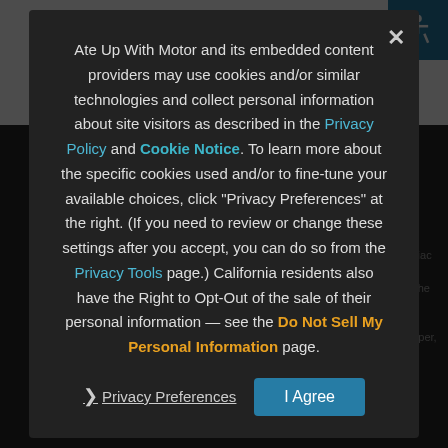enclosed chains had, more cars are appearing with chain-driven valve gear, improvements in lubrication and probably the metals used mean that the timing chain on a well-maintained modern car...
Ate Up With Motor and its embedded content providers may use cookies and/or similar technologies and collect personal information about site visitors as described in the Privacy Policy and Cookie Notice. To learn more about the specific cookies used and/or to fine-tune your available choices, click "Privacy Preferences" at the right. (If you need to review or change these settings after you accept, you can do so from the Privacy Tools page.) California residents also have the Right to Opt-Out of the sale of their personal information — see the Do Not Sell My Personal Information page.
Privacy Preferences
I Agree